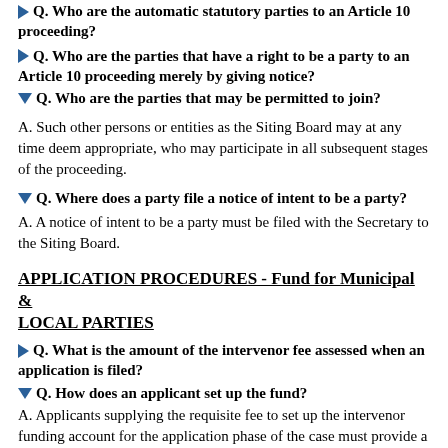Q. Who are the automatic statutory parties to an Article 10 proceeding?
Q. Who are the parties that have a right to be a party to an Article 10 proceeding merely by giving notice?
Q. Who are the parties that may be permitted to join?
A. Such other persons or entities as the Siting Board may at any time deem appropriate, who may participate in all subsequent stages of the proceeding.
Q. Where does a party file a notice of intent to be a party?
A. A notice of intent to be a party must be filed with the Secretary to the Siting Board.
APPLICATION PROCEDURES - Fund for Municipal & LOCAL PARTIES
Q. What is the amount of the intervenor fee assessed when an application is filed?
Q. How does an applicant set up the fund?
A. Applicants supplying the requisite fee to set up the intervenor funding account for the application phase of the case must provide a check, made out to the NYS Department of Public Service,